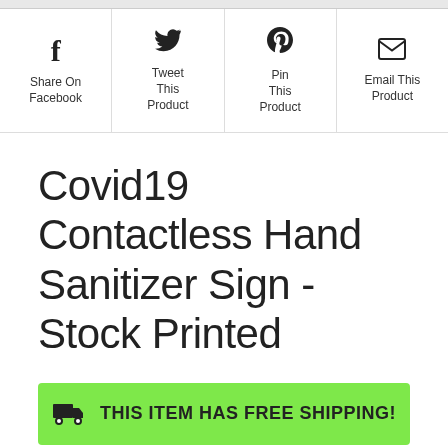[Figure (infographic): Social sharing bar with four cells: Facebook (f icon, Share On Facebook), Twitter (bird icon, Tweet This Product), Pinterest (P icon, Pin This Product), Email (envelope icon, Email This Product)]
Covid19 Contactless Hand Sanitizer Sign - Stock Printed
THIS ITEM HAS FREE SHIPPING!
CODE SZL0007YEW